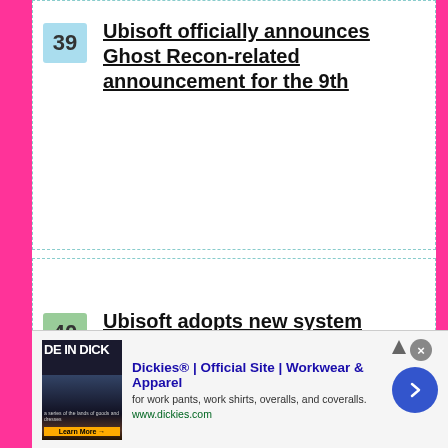39 - Ubisoft officially announces Ghost Recon-related announcement for the 9th
40 - Ubisoft adopts new system against gray market of activation keys
41 - Will we have a new Prince of Persia soon?
[Figure (other): Advertisement banner for Dickies official site - Workwear and Apparel. Shows 'DE IN DICK' image on left, ad text, and arrow button.]